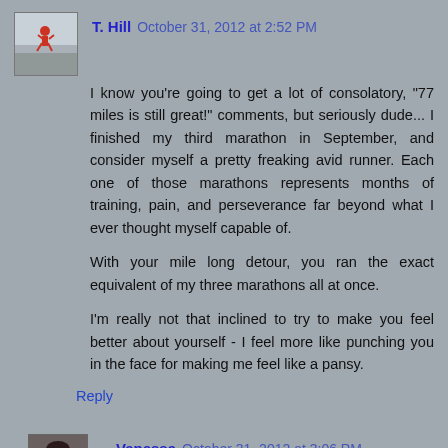[Figure (photo): Avatar photo of T. Hill - person running outdoors]
T. Hill  October 31, 2012 at 2:52 PM
I know you're going to get a lot of consolatory, "77 miles is still great!" comments, but seriously dude... I finished my third marathon in September, and consider myself a pretty freaking avid runner. Each one of those marathons represents months of training, pain, and perseverance far beyond what I ever thought myself capable of.

With your mile long detour, you ran the exact equivalent of my three marathons all at once.

I'm really not that inclined to try to make you feel better about yourself - I feel more like punching you in the face for making me feel like a pansy.
Reply
[Figure (photo): Avatar photo of Vanessa - woman with dark hair]
Vanessa  October 31, 2012 at 3:06 PM
Great work out there Cory! Congrats on the buckle!
Reply